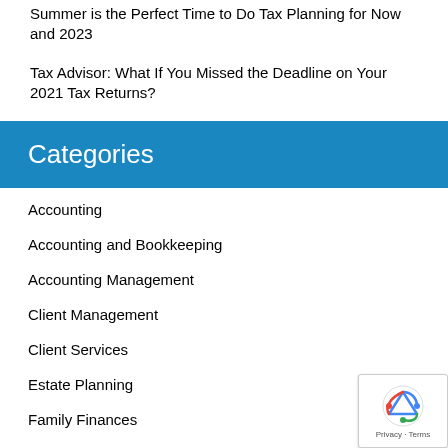Summer is the Perfect Time to Do Tax Planning for Now and 2023
Tax Advisor: What If You Missed the Deadline on Your 2021 Tax Returns?
Categories
Accounting
Accounting and Bookkeeping
Accounting Management
Client Management
Client Services
Estate Planning
Family Finances
Financial Advice
Financial Advi…